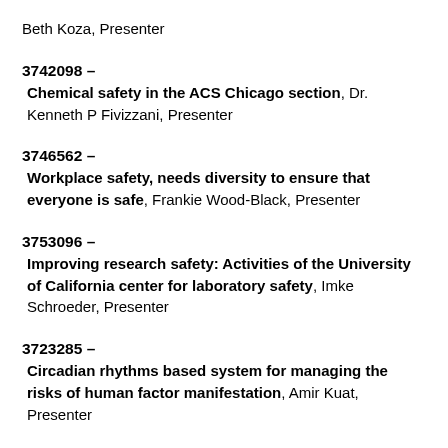Beth Koza, Presenter
3742098 – Chemical safety in the ACS Chicago section, Dr. Kenneth P Fivizzani, Presenter
3746562 – Workplace safety, needs diversity to ensure that everyone is safe, Frankie Wood-Black, Presenter
3753096 – Improving research safety: Activities of the University of California center for laboratory safety, Imke Schroeder, Presenter
3723285 – Circadian rhythms based system for managing the risks of human factor manifestation, Amir Kuat, Presenter